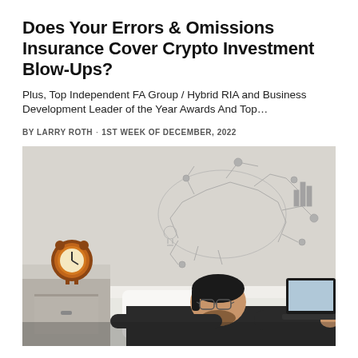Does Your Errors & Omissions Insurance Cover Crypto Investment Blow-Ups?
Plus, Top Independent FA Group / Hybrid RIA and Business Development Leader of the Year Awards And Top…
BY LARRY ROTH · 1ST WEEK OF DECEMBER, 2022
[Figure (photo): Person lying on bed with glasses pushed up, working on a laptop, with an alarm clock on nightstand beside them and a complex mind-map drawing on the wall behind them.]